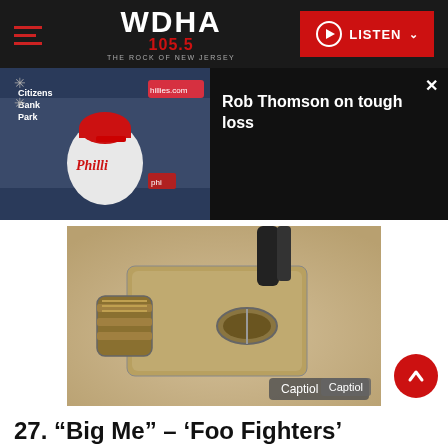WDHA 105.5 THE ROCK OF NEW JERSEY — LISTEN
[Figure (screenshot): Video panel showing Philadelphia Phillies press conference with Rob Thomson, alongside video overlay info panel saying 'Rob Thomson on tough loss' with a close button]
[Figure (photo): Close-up photo of a guitar tuning peg mechanism against a light sandy/cream background, with 'Captiol' watermark badge in lower right]
27. “Big Me” – ‘Foo Fighters’ (1995)